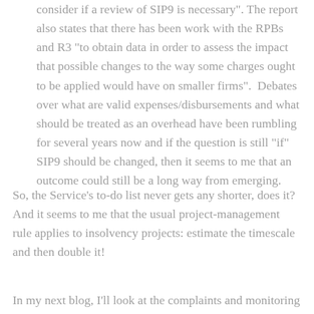consider if a review of SIP9 is necessary”. The report also states that there has been work with the RPBs and R3 “to obtain data in order to assess the impact that possible changes to the way some charges ought to be applied would have on smaller firms”.  Debates over what are valid expenses/disbursements and what should be treated as an overhead have been rumbling for several years now and if the question is still “if” SIP9 should be changed, then it seems to me that an outcome could still be a long way from emerging.
So, the Service’s to-do list never gets any shorter, does it? And it seems to me that the usual project-management rule applies to insolvency projects: estimate the timescale and then double it!
In my next blog, I’ll look at the complaints and monitoring